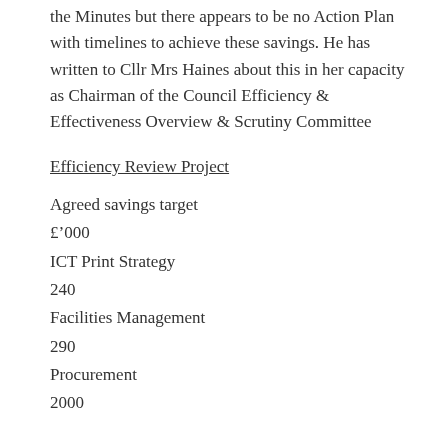the Minutes but there appears to be no Action Plan with timelines to achieve these savings. He has written to Cllr Mrs Haines about this in her capacity as Chairman of the Council Efficiency & Effectiveness Overview & Scrutiny Committee
Efficiency Review Project
Agreed savings target
£’000
ICT Print Strategy
240
Facilities Management
290
Procurement
2000